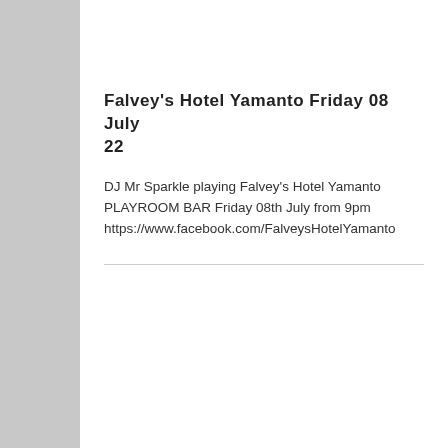Falvey's Hotel Yamanto Friday 08 July 22
DJ Mr Sparkle playing Falvey's Hotel Yamanto PLAYROOM BAR Friday 08th July from 9pm https://www.facebook.com/FalveysHotelYamanto